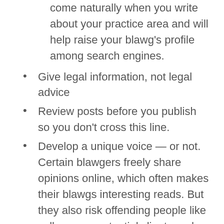come naturally when you write about your practice area and will help raise your blawg's profile among search engines.
Give legal information, not legal advice
Review posts before you publish so you don't cross this line.
Develop a unique voice — or not. Certain blawgers freely share opinions online, which often makes their blawgs interesting reads. But they also risk offending people like colleagues, potential clients and members of the judiciary. It's your call.
Filter and moderate